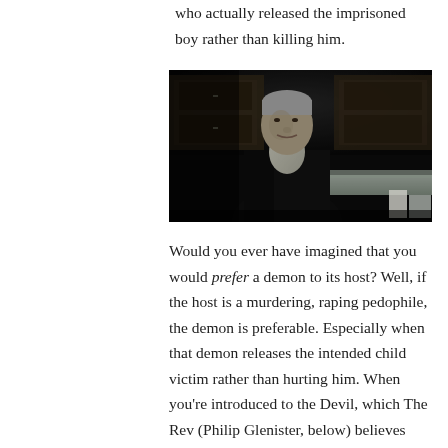who actually released the imprisoned boy rather than killing him.
[Figure (photo): A dark, moody indoor scene showing an elderly man in a dark suit standing in what appears to be a kitchen setting with wooden cabinets visible in the background. The lighting is dramatic and low-key.]
Would you ever have imagined that you would prefer a demon to its host? Well, if the host is a murdering, raping pedophile, the demon is preferable. Especially when that demon releases the intended child victim rather than hurting him. When you’re introduced to the Devil, which The Rev (Philip Glenister, below) believes Sidney to be, and you find the Devil to be